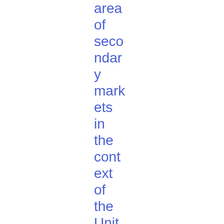area of secondary markets in the context of the United Kingdom withdrawing from the Euro